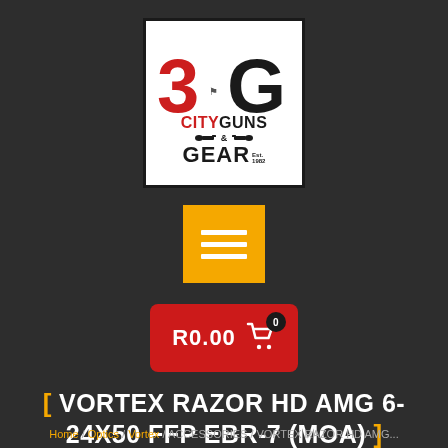[Figure (logo): City Guns & Gear logo with red '3' and black 'G' letters, white background with black border, established 1982]
[Figure (other): Orange/yellow hamburger menu button with three white horizontal lines]
[Figure (other): Red shopping cart button showing R0.00 price with cart icon and '0' badge]
[ VORTEX RAZOR HD AMG 6-24X50 FFP EBR-7 (MOA) ]
Home / Optics / Vortex / ACCESSORIES / VORTEX RAZOR HD AMG...